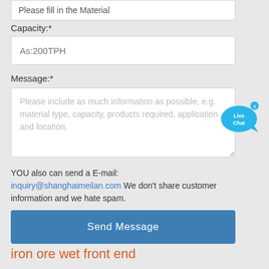Please fill in the Material
Capacity:*
As:200TPH
Message:*
Please include as much information as possible, e.g. material type, capacity, products required, application and location.
[Figure (illustration): Live Chat speech bubble icon in blue with white text saying 'Live Chat' and an 'x' close button]
YOU also can send a E-mail: inquiry@shanghaimeilan.com We don't share customer information and we hate spam.
Send Message
iron ore wet front end